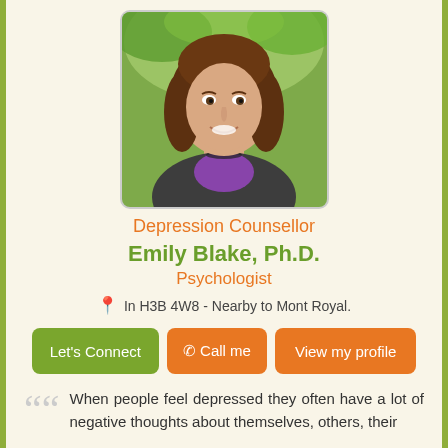[Figure (photo): Portrait photo of Emily Blake, Ph.D., a woman with brown hair wearing a dark blazer and purple top, smiling, outdoors with green background.]
Depression Counsellor
Emily Blake, Ph.D.
Psychologist
In H3B 4W8 - Nearby to Mont Royal.
Let's Connect | Call me | View my profile
When people feel depressed they often have a lot of negative thoughts about themselves, others, their